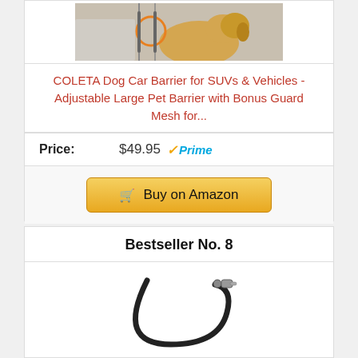[Figure (photo): Product photo of a golden retriever dog in a car with a barrier/divider, partially visible from top, with orange circle highlight on the barrier]
COLETA Dog Car Barrier for SUVs & Vehicles - Adjustable Large Pet Barrier with Bonus Guard Mesh for...
Price: $49.95 ✓Prime
Buy on Amazon
Bestseller No. 8
[Figure (photo): Product photo of a black curved dog leash/cable with a metal clasp connector, shown against white background]